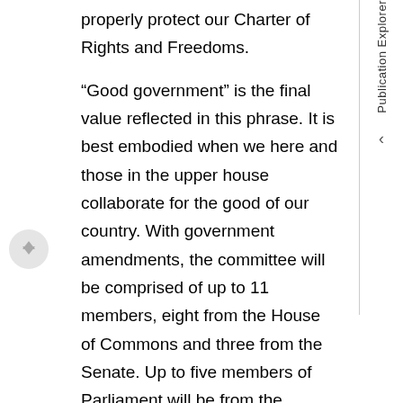properly protect our Charter of Rights and Freedoms.
“Good government” is the final value reflected in this phrase. It is best embodied when we here and those in the upper house collaborate for the good of our country. With government amendments, the committee will be comprised of up to 11 members, eight from the House of Commons and three from the Senate. Up to five members of Parliament will be from the governing party.
(1215)
This bill is an essential part of our national security strategy, which includes specific measures outlined in our platform, as well as consultations, so that Canadians can